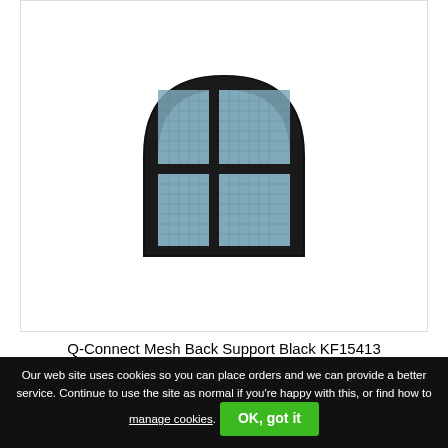[Figure (photo): Q-Connect Mesh Back Support product image — black-framed mesh lumbar support cushion with grey/blue mesh fabric, rounded top and flat bottom, divided into sections by thick black bars.]
Q-Connect Mesh Back Support Black KF15413
Our web site uses cookies so you can place orders and we can provide a better service. Continue to use the site as normal if you're happy with this, or find how to manage cookies.